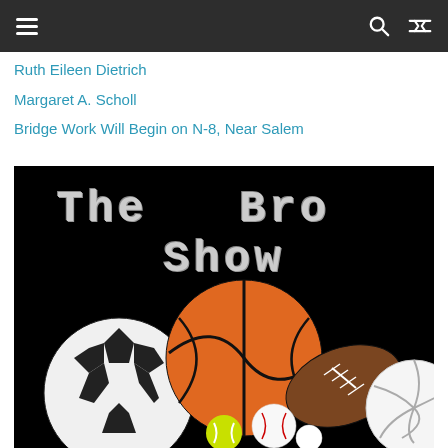Navigation bar with hamburger menu, search and shuffle icons
Ruth Eileen Dietrich
Margaret A. Scholl
Bridge Work Will Begin on N-8, Near Salem
[Figure (illustration): The Bro Show logo: large grunge-style text 'The Bro Show' on a black background with various sports balls below including soccer ball, basketball, football, volleyball, baseball, tennis ball, and golf ball.]